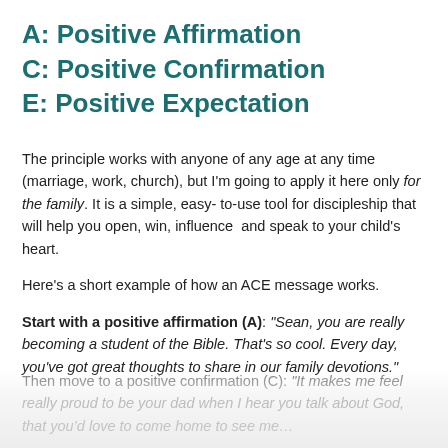A: Positive Affirmation
C: Positive Confirmation
E: Positive Expectation
The principle works with anyone of any age at any time (marriage, work, church), but I'm going to apply it here only for the family. It is a simple, easy- to-use tool for discipleship that will help you open, win, influence  and speak to your child's heart.
Here's a short example of how an ACE message works.
Start with a positive affirmation (A): “Sean, you are really becoming a student of the Bible. That's so cool. Every day, you've got great thoughts to share in our family devotions.”
Then move to a positive confirmation (C): “It makes me feel really proud to be your dad when I hear you talk about God, that you’d love to come home to see me…”